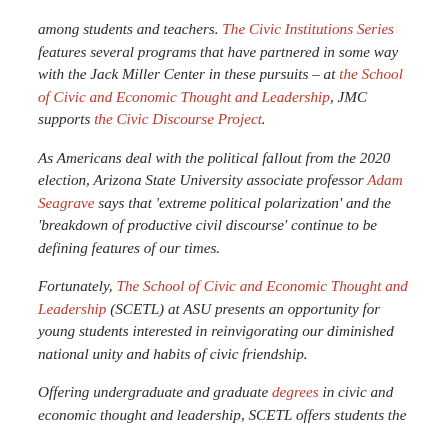among students and teachers. The Civic Institutions Series features several programs that have partnered in some way with the Jack Miller Center in these pursuits – at the School of Civic and Economic Thought and Leadership, JMC supports the Civic Discourse Project.
As Americans deal with the political fallout from the 2020 election, Arizona State University associate professor Adam Seagrave says that 'extreme political polarization' and the 'breakdown of productive civil discourse' continue to be defining features of our times.
Fortunately, The School of Civic and Economic Thought and Leadership (SCETL) at ASU presents an opportunity for young students interested in reinvigorating our diminished national unity and habits of civic friendship.
Offering undergraduate and graduate degrees in civic and economic thought and leadership, SCETL offers students the